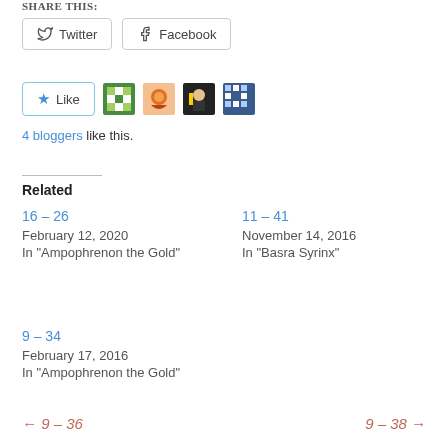SHARE THIS:
[Figure (other): Twitter and Facebook social sharing buttons]
[Figure (other): Like button with star icon and 4 blogger avatars]
4 bloggers like this.
Related
16 – 26
February 12, 2020
In "Ampophrenon the Gold"
11 – 41
November 14, 2016
In "Basra Syrinx"
9 – 34
February 17, 2016
In "Ampophrenon the Gold"
← 9 – 36      9 – 38 →